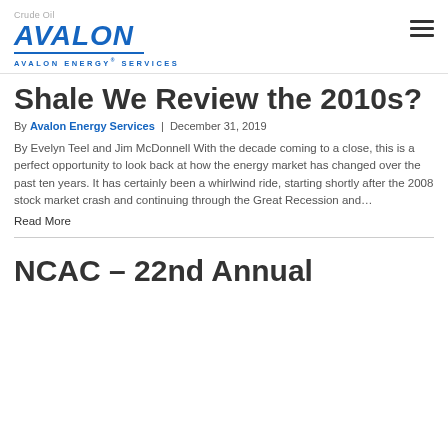Crude Oil | AVALON | AVALON ENERGY® SERVICES
Shale We Review the 2010s?
By Avalon Energy Services | December 31, 2019
By Evelyn Teel and Jim McDonnell With the decade coming to a close, this is a perfect opportunity to look back at how the energy market has changed over the past ten years. It has certainly been a whirlwind ride, starting shortly after the 2008 stock market crash and continuing through the Great Recession and…
Read More
NCAC – 22nd Annual